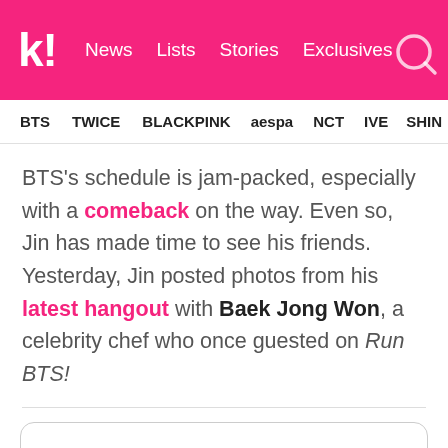Koreaboo | News  Lists  Stories  Exclusives
BTS  TWICE  BLACKPINK  aespa  NCT  IVE  SHINee
BTS's schedule is jam-packed, especially with a comeback on the way. Even so, Jin has made time to see his friends. Yesterday, Jin posted photos from his latest hangout with Baek Jong Won, a celebrity chef who once guested on Run BTS!
[Figure (screenshot): Embedded social media post with quotation mark icon and blurred/greyed out user content lines]